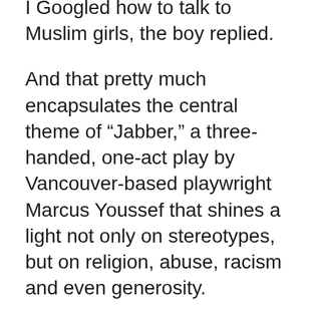I Googled how to talk to Muslim girls, the boy replied.
And that pretty much encapsulates the central theme of “Jabber,” a three-handed, one-act play by Vancouver-based playwright Marcus Youssef that shines a light not only on stereotypes, but on religion, abuse, racism and even generosity.
Produced by a Montréal-based theatre company, Geordie Productions, Jabber and its youthful cast made an appearance Friday morning at the Macleian Centre for the Performing Arts